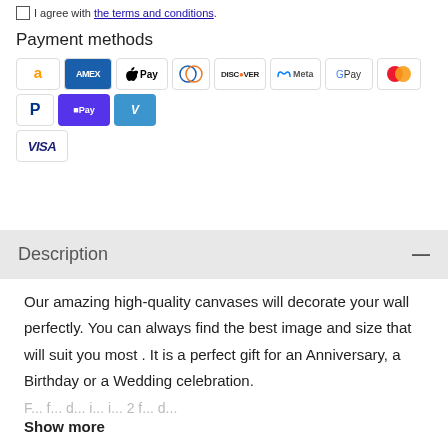I agree with the terms and conditions.
Payment methods
[Figure (other): Payment method icons: Amazon Pay, American Express, Apple Pay, Diners Club, Discover, Meta Pay, Google Pay, Mastercard, PayPal, Shop Pay, Venmo, Visa]
Description
Our amazing high-quality canvases will decorate your wall perfectly. You can always find the best image and size that will suit you most . It is a perfect gift for an Anniversary, a Birthday or a Wedding celebration.
Show more